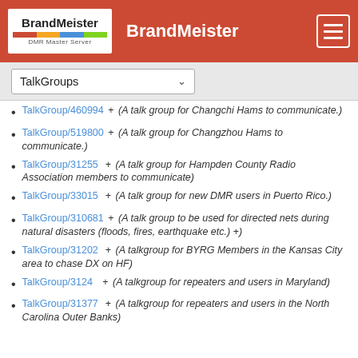BrandMeister
TalkGroups
TalkGroup/460994 + (A talk group for Changchi Hams to communicate.)
TalkGroup/519800 + (A talk group for Changzhou Hams to communicate.)
TalkGroup/31255 + (A talk group for Hampden County Radio Association members to communicate)
TalkGroup/33015 + (A talk group for new DMR users in Puerto Rico.)
TalkGroup/310681 + (A talk group to be used for directed nets during natural disasters (floods, fires, earthquake etc.) +)
TalkGroup/31202 + (A talkgroup for BYRG Members in the Kansas City area to chase DX on HF)
TalkGroup/3124 + (A talkgroup for repeaters and users in Maryland)
TalkGroup/31377 + (A talkgroup for repeaters and users in the North Carolina Outer Banks)